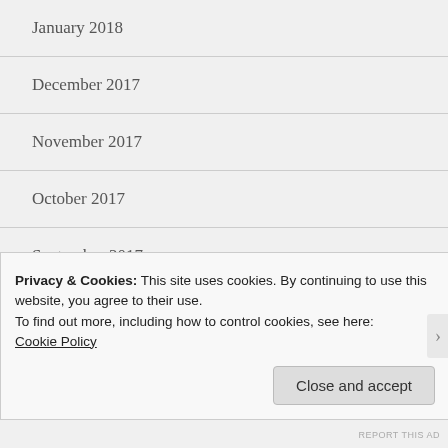January 2018
December 2017
November 2017
October 2017
September 2017
August 2017
July 2017
Privacy & Cookies: This site uses cookies. By continuing to use this website, you agree to their use.
To find out more, including how to control cookies, see here:
Cookie Policy
Close and accept
REPORT THIS AD